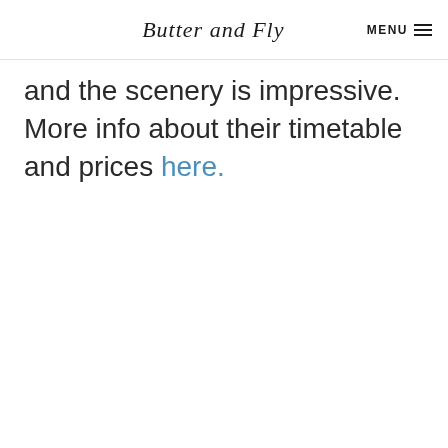Butter and Fly | MENU
and the scenery is impressive. More info about their timetable and prices here.